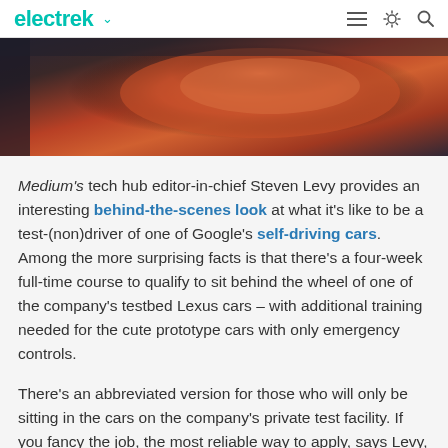electrek
[Figure (photo): Close-up photo of a reddish-orange car interior component, possibly a gear shift or dashboard detail, with dark background.]
Medium's tech hub editor-in-chief Steven Levy provides an interesting behind-the-scenes look at what it's like to be a test-(non)driver of one of Google's self-driving cars. Among the more surprising facts is that there's a four-week full-time course to qualify to sit behind the wheel of one of the company's testbed Lexus cars – with additional training needed for the cute prototype cars with only emergency controls.
There's an abbreviated version for those who will only be sitting in the cars on the company's private test facility. If you fancy the job, the most reliable way to apply, says Levy, is to be friends with an existing driver. If you can't swing that,